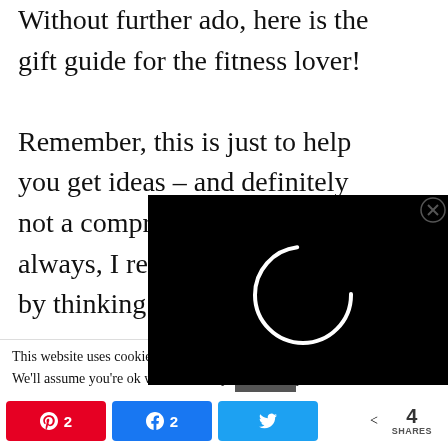Without further ado, here is the gift guide for the fitness lover! Remember, this is just to help you get ideas – and definitely not a comprehensive list. As always, I remind y[ou to save money by thinking outsid[e the box]
[Figure (screenshot): Black video player overlay with loading spinner circle in white, and a close (X) button in top right]
This website uses cookies to improve your experience. We'll assume you're ok with this, but yo[u can] opt-out
CLOSE (button)
Pinterest share button with count 2, Facebook share button with count 2, Twitter share button, total 4 SHARES